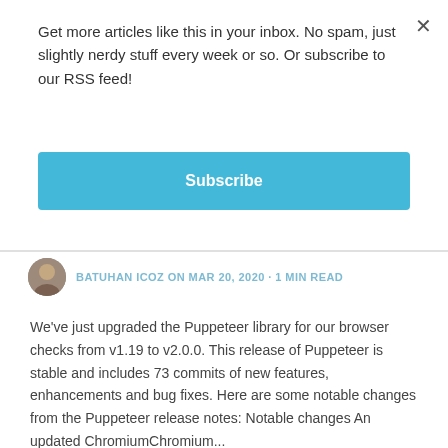Get more articles like this in your inbox. No spam, just slightly nerdy stuff every week or so. Or subscribe to our RSS feed!
Subscribe
BATUHAN ICOZ ON MAR 20, 2020 · 1 MIN READ
We've just upgraded the Puppeteer library for our browser checks from v1.19 to v2.0.0. This release of Puppeteer is stable and includes 73 commits of new features, enhancements and bug fixes. Here are some notable changes from the Puppeteer release notes: Notable changes An updated ChromiumChromium...
READ MORE
Page 1 of 1